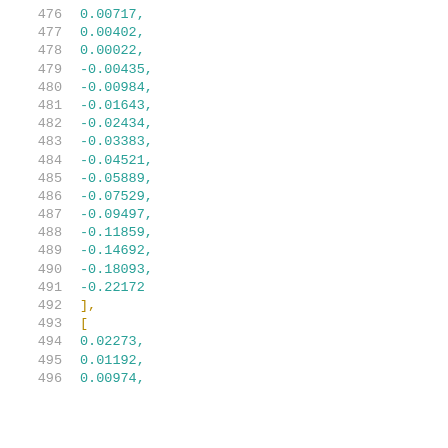476    0.00717,
477    0.00402,
478    0.00022,
479    -0.00435,
480    -0.00984,
481    -0.01643,
482    -0.02434,
483    -0.03383,
484    -0.04521,
485    -0.05889,
486    -0.07529,
487    -0.09497,
488    -0.11859,
489    -0.14692,
490    -0.18093,
491    -0.22172
492    ],
493    [
494    0.02273,
495    0.01192,
496    0.00974,